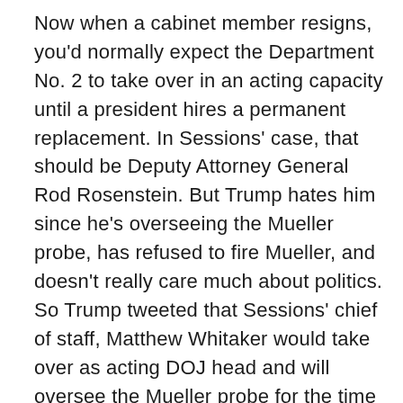Now when a cabinet member resigns, you'd normally expect the Department No. 2 to take over in an acting capacity until a president hires a permanent replacement. In Sessions' case, that should be Deputy Attorney General Rod Rosenstein. But Trump hates him since he's overseeing the Mueller probe, has refused to fire Mueller, and doesn't really care much about politics. So Trump tweeted that Sessions' chief of staff, Matthew Whitaker would take over as acting DOJ head and will oversee the Mueller probe for the time being. Still, the fact he could either let Mueller do what he's doing, curtail, or shut down the investigation should concern you. After all, Whitaker's name cropped up in September as a replacement for Rosenstein when he appeared on the verge of getting fired himself. A former Iowa attorney, he's the “eyes and ears” in the Justice Department, according to the New